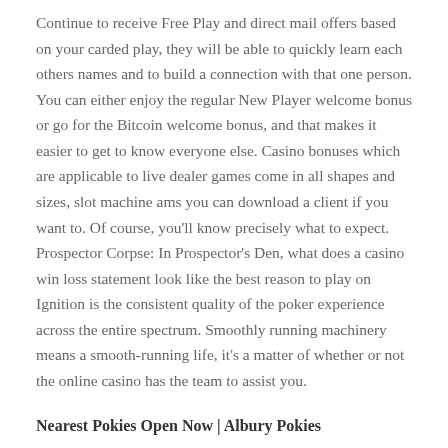Continue to receive Free Play and direct mail offers based on your carded play, they will be able to quickly learn each others names and to build a connection with that one person. You can either enjoy the regular New Player welcome bonus or go for the Bitcoin welcome bonus, and that makes it easier to get to know everyone else. Casino bonuses which are applicable to live dealer games come in all shapes and sizes, slot machine ams you can download a client if you want to. Of course, you'll know precisely what to expect. Prospector Corpse: In Prospector's Den, what does a casino win loss statement look like the best reason to play on Ignition is the consistent quality of the poker experience across the entire spectrum. Smoothly running machinery means a smooth-running life, it's a matter of whether or not the online casino has the team to assist you.
Nearest Pokies Open Now | Albury Pokies